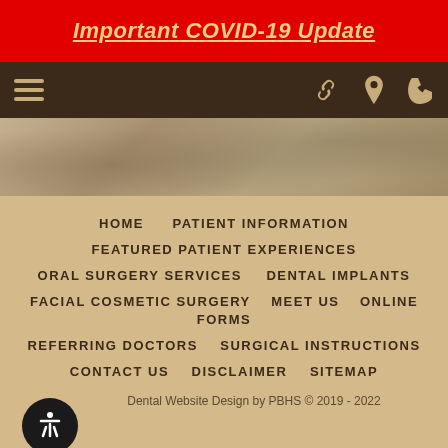Important COVID-19 Update
[Figure (screenshot): Dark brown navigation bar with hamburger menu icon on left and chain link, location pin, phone icons on right in tan/gold color]
[Figure (photo): Stone/rock texture background photo in sepia tones]
HOME
PATIENT INFORMATION
FEATURED PATIENT EXPERIENCES
ORAL SURGERY SERVICES
DENTAL IMPLANTS
FACIAL COSMETIC SURGERY
MEET US
ONLINE FORMS
REFERRING DOCTORS
SURGICAL INSTRUCTIONS
CONTACT US
DISCLAIMER
SITEMAP
Dental Website Design by PBHS © 2019 - 2022
We are online!